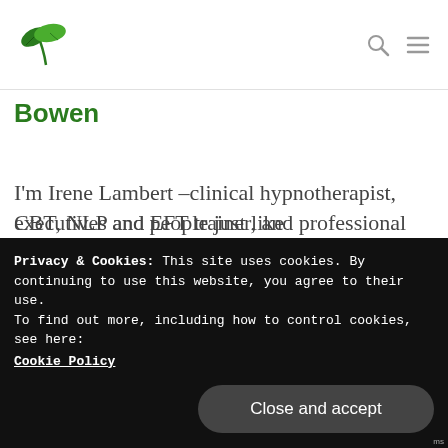[Figure (logo): Green leaf/plant logo icon]
Bowen
I'm Irene Lambert –clinical hypnotherapist, CBT, NLP and EFT trainer, and professional coach. Using treatment that is holistic and natural,  I motivate, guide and help you to make positive and valued changes in
executives and people just like
Privacy & Cookies: This site uses cookies. By continuing to use this website, you agree to their use.
To find out more, including how to control cookies, see here:
Cookie Policy
Close and accept